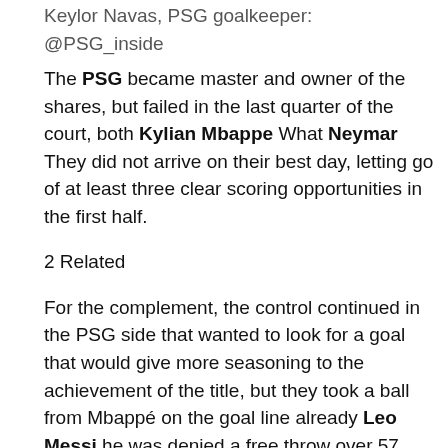Keylor Navas, PSG goalkeeper: @PSG_inside
The PSG became master and owner of the shares, but failed in the last quarter of the court, both Kylian Mbappe What Neymar They did not arrive on their best day, letting go of at least three clear scoring opportunities in the first half.
2 Related
For the complement, the control continued in the PSG side that wanted to look for a goal that would give more seasoning to the achievement of the title, but they took a ball from Mbappé on the goal line already Leo Messi he was denied a free throw over 57 minutes, in a foul that got Kevin Danso ejected.
However, the padlock broke at minute 68, the local team suffocated the visitor, looked for space until Neymar located Messi outside the area, handed it to him on his left leg, the